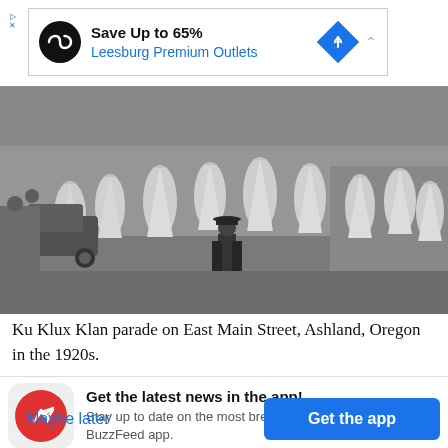[Figure (other): Advertisement banner: Save Up to 65% Leesburg Premium Outlets with logo, direction icon, and collapse arrow]
[Figure (photo): Black and white historical photograph of a Ku Klux Klan parade on East Main Street, Ashland, Oregon in the 1920s. Many robed figures in white walk down a street while a police officer in dark uniform watches.]
Ku Klux Klan parade on East Main Street, Ashland, Oregon in the 1920s.
Get the latest news in the app! Stay up to date on the most breaking news, all from your BuzzFeed app.
Maybe later
Get the app